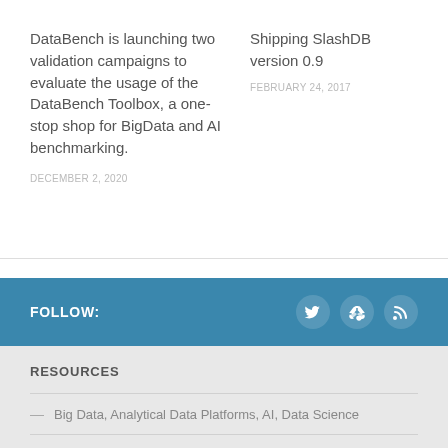DataBench is launching two validation campaigns to evaluate the usage of the DataBench Toolbox, a one-stop shop for BigData and AI benchmarking.
DECEMBER 2, 2020
Shipping SlashDB version 0.9
FEBRUARY 24, 2017
FOLLOW:
RESOURCES
Big Data, Analytical Data Platforms, AI, Data Science
Cloud Data Stores